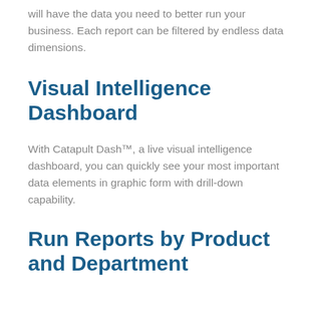will have the data you need to better run your business. Each report can be filtered by endless data dimensions.
Visual Intelligence Dashboard
With Catapult Dash™, a live visual intelligence dashboard, you can quickly see your most important data elements in graphic form with drill-down capability.
Run Reports by Product and Department